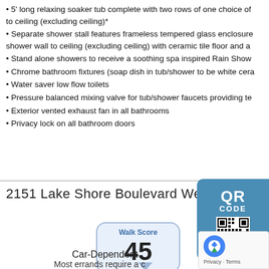• 5' long relaxing soaker tub complete with two rows of one choice of to ceiling (excluding ceiling)*
• Separate shower stall features frameless tempered glass enclosure shower wall to ceiling (excluding ceiling) with ceramic tile floor and a
• Stand alone showers to receive a soothing spa inspired Rain Show
• Chrome bathroom fixtures (soap dish in tub/shower to be white cera
• Water saver low flow toilets
• Pressure balanced mixing valve for tub/shower faucets providing te
• Exterior vented exhaust fan in all bathrooms
• Privacy lock on all bathroom doors
2151 Lake Shore Boulevard West Toronto
[Figure (other): QR Code box with blue background showing 'QR CODE' text and a QR code image]
[Figure (infographic): Walk Score widget showing score of 45 with 'Car-Dependent' rating]
Car-Dependent
Most errands require a c
[Figure (other): reCAPTCHA privacy badge with logo and Privacy/Terms links]